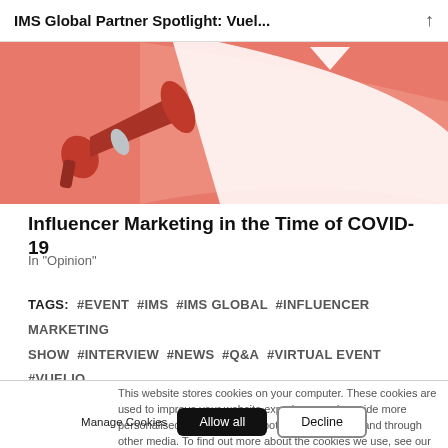IMS Global Partner Spotlight: Vuel...
[Figure (illustration): Illustration of a megaphone/bullhorn with a large speech bubble/arrow shape on a coral/salmon pink background]
Influencer Marketing in the Time of COVID-19
In "Opinion"
TAGS: #EVENT #IMS #IMS GLOBAL #INFLUENCER MARKETING SHOW #INTERVIEW #NEWS #Q&A #VIRTUAL EVENT #VUELIO
This website stores cookies on your computer. These cookies are used to improve your website experience and provide more personalised services to you, both on this website and through other media. To find out more about the cookies we use, see our privacy policy.
Manage Cookies  Allow all  Decline